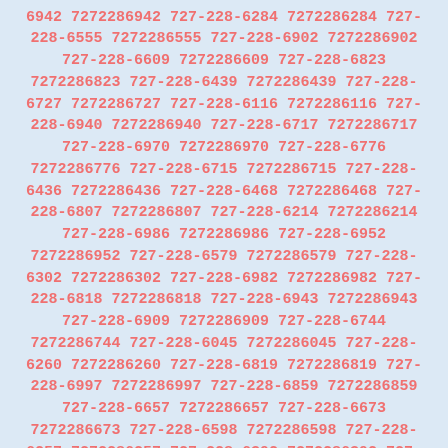220-0740 7272260740 727-220-6521 7272260521 727-228-6049 7272286049 727-228-6517 7272286517 727-228-6139 7272286139 727-228-6942 7272286942 727-228-6284 7272286284 727-228-6555 7272286555 727-228-6902 7272286902 727-228-6609 7272286609 727-228-6823 7272286823 727-228-6439 7272286439 727-228-6727 7272286727 727-228-6116 7272286116 727-228-6940 7272286940 727-228-6717 7272286717 727-228-6970 7272286970 727-228-6776 7272286776 727-228-6715 7272286715 727-228-6436 7272286436 727-228-6468 7272286468 727-228-6807 7272286807 727-228-6214 7272286214 727-228-6986 7272286986 727-228-6952 7272286952 727-228-6579 7272286579 727-228-6302 7272286302 727-228-6982 7272286982 727-228-6818 7272286818 727-228-6943 7272286943 727-228-6909 7272286909 727-228-6744 7272286744 727-228-6045 7272286045 727-228-6260 7272286260 727-228-6819 7272286819 727-228-6997 7272286997 727-228-6859 7272286859 727-228-6657 7272286657 727-228-6673 7272286673 727-228-6598 7272286598 727-228-6257 7272286257 727-228-6392 7272286392 727-228-6572 7272286572 727-228-6869 7272286869 727-228-6020 7272286020 727-228-6022